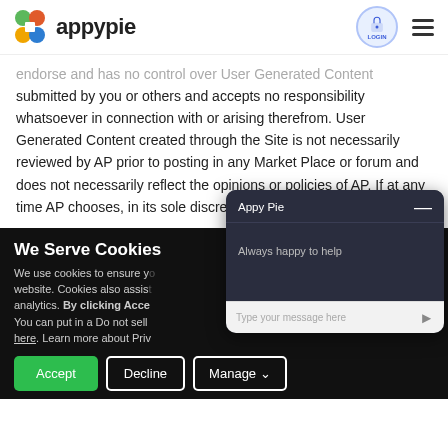appypie
endorse and has no control over User Generated Content submitted by you or others and accepts no responsibility whatsoever in connection with or arising therefrom. User Generated Content created through the Site is not necessarily reviewed by AP prior to posting in any Market Place or forum and does not necessarily reflect the opinions or policies of AP. If at any time AP chooses, in its sole discretion, to monitor the Marketplace,
We Serve Cookies
We use cookies to ensure y... website. Cookies also assis... analytics. By clicking Acce... You can put in a Do not sell ... here. Learn more about Priv...
[Figure (screenshot): Appy Pie chat widget showing 'Always happy to help' greeting with message input field]
Accept   Decline   Manage